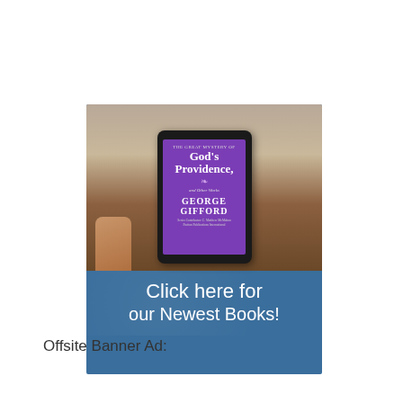[Figure (illustration): Advertisement banner showing a person holding a tablet/iPad displaying a purple book cover 'The Great Mystery of God's Providence, and Other Works by George Gifford'. Below the photo is a blue background with white text saying 'Click here for our Newest Books!']
Offsite Banner Ad:
[Figure (logo): Logos Bible Software banner advertisement — blue background with circular icon and LOGOS text in white]